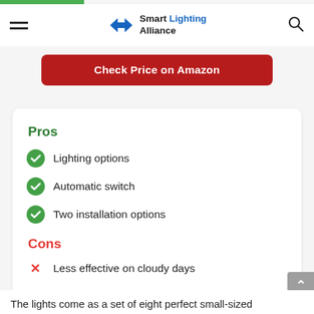Smart Lighting Alliance
Check Price on Amazon
Pros
Lighting options
Automatic switch
Two installation options
Cons
Less effective on cloudy days
The lights come as a set of eight perfect small-sized